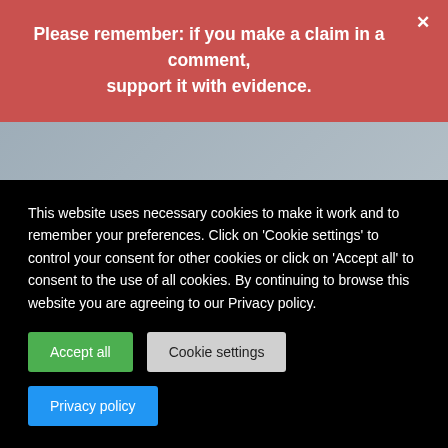Please remember: if you make a claim in a comment, support it with evidence.
wearily respond to a few of your points, and leave you to own devices."
I didn't think it would be long for an Ad Hominem. I shouldn't be surprised because "grown-ups" try to argue about the evidence, or lack of it.
"Many of the other reviews conclude that there are some positive indications, but more
This website uses necessary cookies to make it work and to remember your preferences. Click on 'Cookie settings' to control your consent for other cookies or click on 'Accept all' to consent to the use of all cookies. By continuing to browse this website you are agreeing to our Privacy policy.